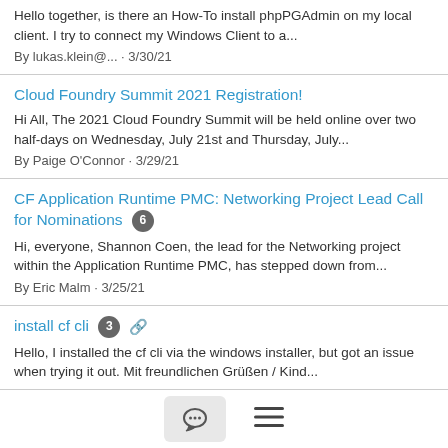Hello together, is there an How-To install phpPGAdmin on my local client. I try to connect my Windows Client to a... By lukas.klein@... · 3/30/21
Cloud Foundry Summit 2021 Registration! Hi All, The 2021 Cloud Foundry Summit will be held online over two half-days on Wednesday, July 21st and Thursday, July... By Paige O'Connor · 3/29/21
CF Application Runtime PMC: Networking Project Lead Call for Nominations [6] Hi, everyone, Shannon Coen, the lead for the Networking project within the Application Runtime PMC, has stepped down from... By Eric Malm · 3/25/21
install cf cli [3] [attachment] Hello, I installed the cf cli via the windows installer, but got an issue when trying it out. Mit freundlichen Grüßen / Kind... By lukas.klein@... · 3/25/21
Chat / Menu navigation bar